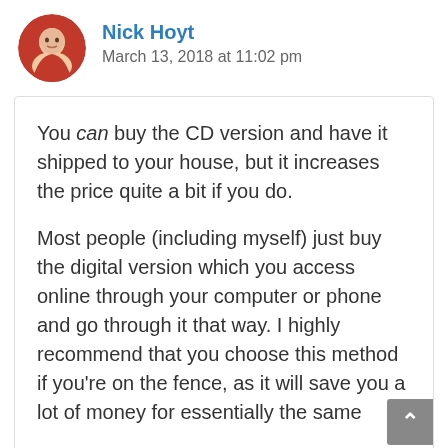Nick Hoyt
March 13, 2018 at 11:02 pm
You can buy the CD version and have it shipped to your house, but it increases the price quite a bit if you do.
Most people (including myself) just buy the digital version which you access online through your computer or phone and go through it that way. I highly recommend that you choose this method if you're on the fence, as it will save you a lot of money for essentially the same information